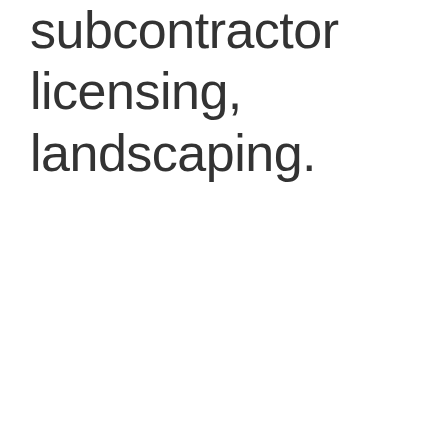subcontractor licensing, landscaping.